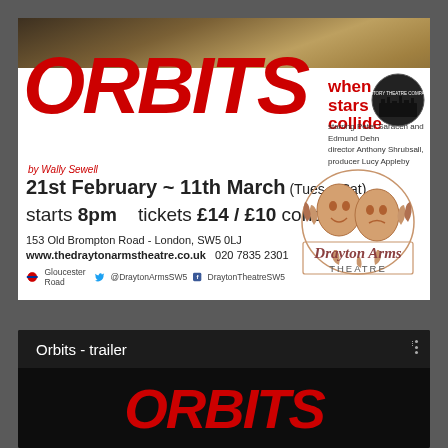[Figure (illustration): Theatre poster for 'ORBITS when stars collide' at Drayton Arms Theatre. Shows sepia photo background at top, large red italic ORBITS title, subtitle 'when stars collide', starring Peter Saracen and Edmund Dehn, director Anthony Shrubsall, producer Lucy Appleby, by Wally Sewell, dates 21st February to 11th March (Tues-Sat), starts 8pm, tickets £14/£10 concessions, address 153 Old Brompton Road - London SW5 0LJ, website www.thedraytonarmstheatre.co.uk, phone 020 7835 2301, social media handles, Drayton Arms Theatre comedy mask logo.]
Orbits - trailer
[Figure (screenshot): Video thumbnail preview showing partial red italic ORBITS text on dark background, video titled 'Orbits - trailer' with three-dot menu icon]